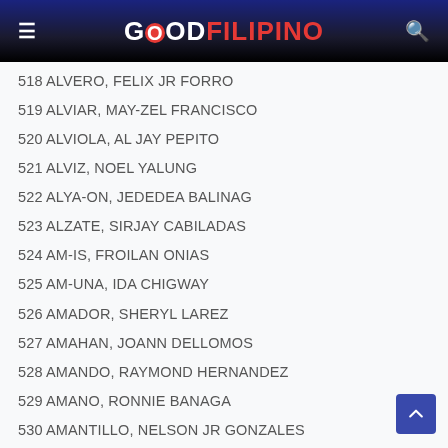GOOD FILIPINO
518 ALVERO, FELIX JR FORRO
519 ALVIAR, MAY-ZEL FRANCISCO
520 ALVIOLA, AL JAY PEPITO
521 ALVIZ, NOEL YALUNG
522 ALYA-ON, JEDEDEA BALINAG
523 ALZATE, SIRJAY CABILADAS
524 AM-IS, FROILAN ONIAS
525 AM-UNA, IDA CHIGWAY
526 AMADOR, SHERYL LAREZ
527 AMAHAN, JOANN DELLOMOS
528 AMANDO, RAYMOND HERNANDEZ
529 AMANO, RONNIE BANAGA
530 AMANTILLO, NELSON JR GONZALES
531 AMAR, EMMER SALABER
532 AMARGA, RIC JR MABAO
533 AMARGA, ROLANDO GUINGON